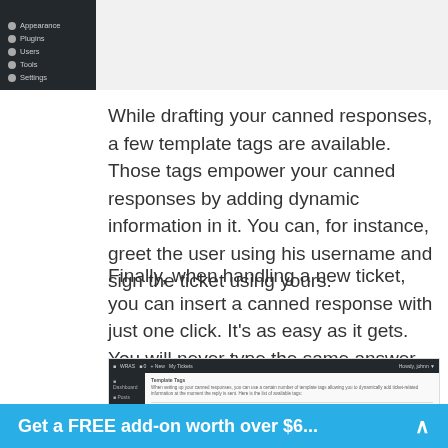[Figure (screenshot): Partial WordPress admin sidebar screenshot showing menu items: Appearance, Plugins, Users, Tools, Settings]
While drafting your canned responses, a few template tags are available. Those tags empower your canned responses by adding dynamic information in it. You can, for instance, greet the user using his username and sign the ticket using yours.
Finally, when handling a new ticket, you can insert a canned response with just one click. It’s as easy as it gets. You will never type the same answer again and again!
[Figure (screenshot): WordPress admin interface showing a Template Tags settings page with a description and a Tag/Description table header]
Get a FREE add-on worth over $6...